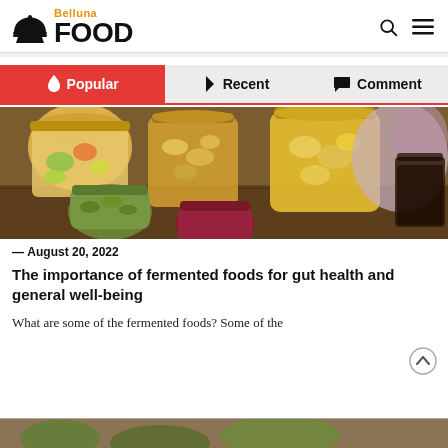Belluna FOOD
Popular | Recent | Comment
[Figure (photo): Multiple glass jars filled with various fermented foods including pickles, sauerkraut, and other preserved vegetables on a wooden table with a cloth.]
— August 20, 2022
The importance of fermented foods for gut health and general well-being
What are some of the fermented foods? Some of the
[Figure (photo): Partial view of another food article image at the bottom of the page.]